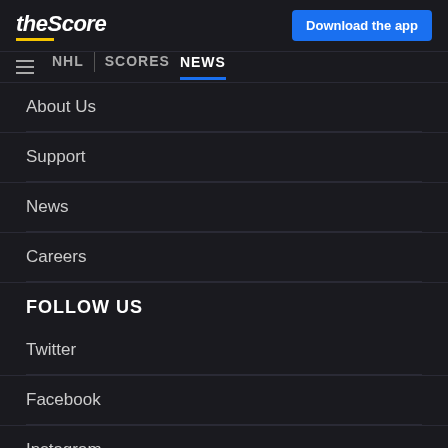theScore | Download the app
NHL | SCORES | NEWS
About Us
Support
News
Careers
FOLLOW US
Twitter
Facebook
Instagram
TikTok
The ultimate, personalized mobile sports experience